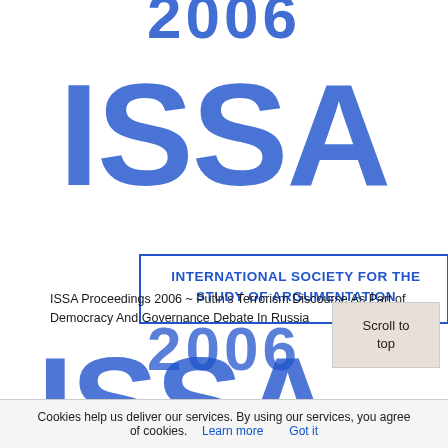[Figure (logo): ISSA 2006 logo — large blue letters 'ISSA' repeated with '2006' above and 'INTERNATIONAL SOCIETY FOR THE STUDY OF ARGUMENTATION' banner overlaid in a bordered rectangle]
ISSA Proceedings 2006 ~ Putin's Terrorism Discourse As Part of Democracy And Governance Debate In Russia
Scroll to top
Cookies help us deliver our services. By using our services, you agree of cookies. Learn more Got it